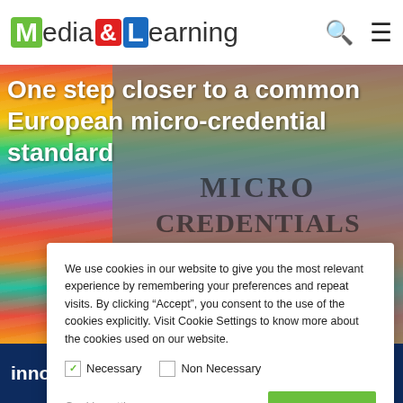Media & Learning [navigation bar with search and menu icons]
[Figure (photo): Hero image showing colorful pencils background with gray overlay containing text MICRO CREDENTIALS]
One step closer to a common European micro-credential standard
We use cookies in our website to give you the most relevant experience by remembering your preferences and repeat visits. By clicking “Accept”, you consent to the use of the cookies explicitly. Visit Cookie Settings to know more about the cookies used on our website.
Necessary (checked)
Non Necessary (unchecked)
Cookie settings
ACCEPT
innovative practices